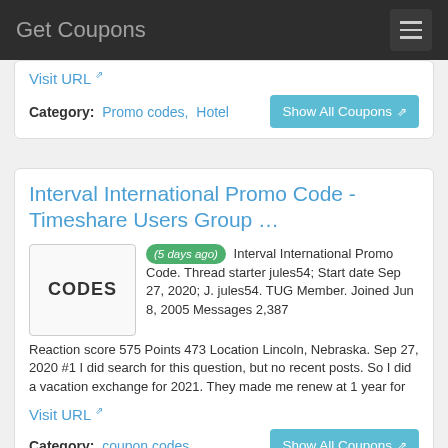Get Coupons
Visit URL
Category: Promo codes, Hotel
Interval International Promo Code - Timeshare Users Group ...
[Figure (other): CODES placeholder image box]
(5 days ago) Interval International Promo Code. Thread starter jules54; Start date Sep 27, 2020; J. jules54. TUG Member. Joined Jun 8, 2005 Messages 2,387 Reaction score 575 Points 473 Location Lincoln, Nebraska. Sep 27, 2020 #1 I did search for this question, but no recent posts. So I did a vacation exchange for 2021. They made me renew at 1 year for
Visit URL
Category: coupon codes